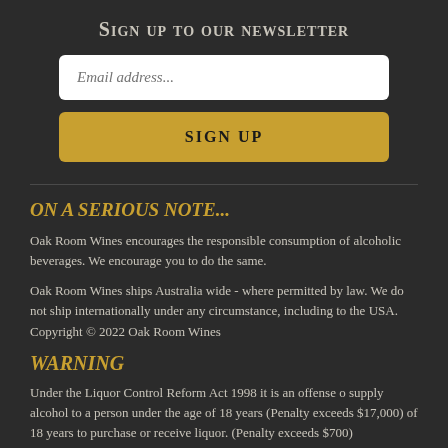Sign up to our newsletter
[Figure (other): Email address input field (text input box with placeholder 'Email address...')]
[Figure (other): SIGN UP button (gold/yellow rounded rectangle button)]
ON A SERIOUS NOTE...
Oak Room Wines encourages the responsible consumption of alcoholic beverages. We encourage you to do the same.
Oak Room Wines ships Australia wide - where permitted by law. We do not ship internationally under any circumstance, including to the USA. Copyright © 2022 Oak Room Wines
WARNING
Under the Liquor Control Reform Act 1998 it is an offense o supply alcohol to a person under the age of 18 years (Penalty exceeds $17,000) of 18 years to purchase or receive liquor. (Penalty exceeds $700)